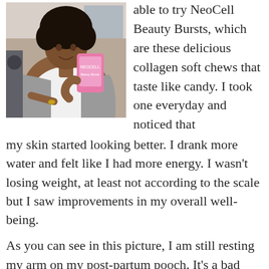[Figure (photo): A smiling young Black woman with natural curly hair, wearing a white graphic t-shirt and grey cardigan, holding up a pink NeoCell Beauty Bursts product bag. She is in a kitchen/indoor setting.]
able to try NeoCell Beauty Bursts, which are these delicious collagen soft chews that taste like candy. I took one everyday and noticed that my skin started looking better. I drank more water and felt like I had more energy. I wasn't losing weight, at least not according to the scale but I saw improvements in my overall well-being.

As you can see in this picture, I am still resting my arm on my post-partum pooch. It's a bad habit that I've grown fond of. I know I said I hated